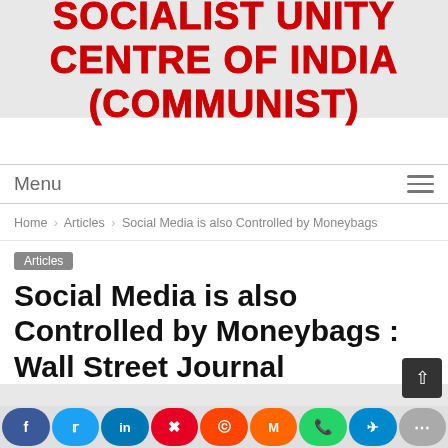SOCIALIST UNITY CENTRE OF INDIA (COMMUNIST)
Menu
Home › Articles › Social Media is also Controlled by Moneybags
Articles
Social Media is also Controlled by Moneybags : Wall Street Journal